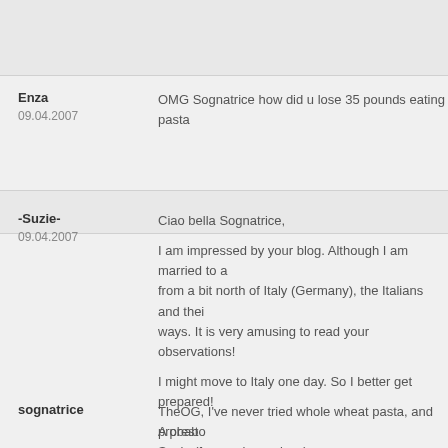[Figure (other): Top gray box, partially visible comment block cut off at top of page]
Enza
09.04.2007
OMG Sognatrice how did u lose 35 pounds eating pasta
-Suzie-
09.04.2007
Ciao bella Sognatrice,

I am impressed by your blog. Although I am married to a from a bit north of Italy (Germany), the Italians and their ways. It is very amusing to read your observations!
I might move to Italy one day. So I better get prepared!

A presto
Suzie (from palazzopizzo)
sognatrice
TheOG, I've never tried whole wheat pasta, and probab